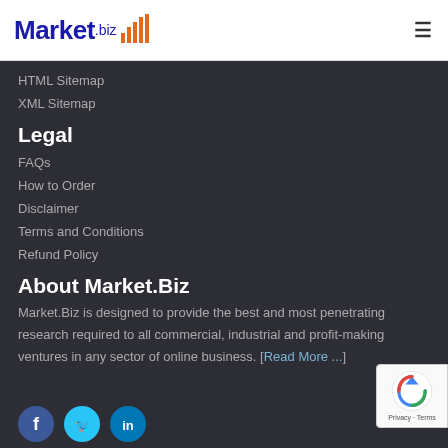Market.biz
HTML Sitemap
XML Sitemap
Legal
FAQs
How to Order
Disclaimer
Terms and Conditions
Refund Policy
About Market.Biz
Market.Biz is designed to provide the best and most penetrating research required to all commercial, industrial and profit-making ventures in any sector of online business. [Read More ...]